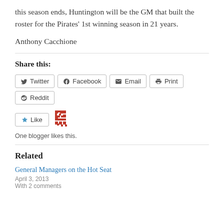this season ends, Huntington will be the GM that built the roster for the Pirates' 1st winning season in 21 years.
Anthony Cacchione
Share this:
Twitter  Facebook  Email  Print  Reddit
Like  One blogger likes this.
Related
General Managers on the Hot Seat
April 3, 2013
With 2 comments